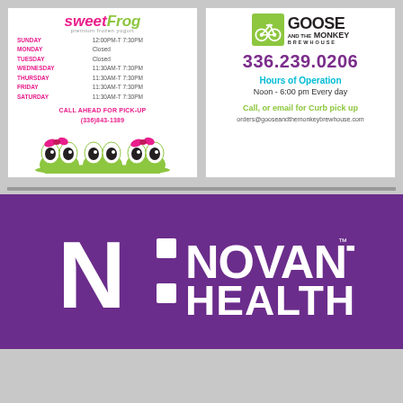[Figure (infographic): Sweet Frog premium frozen yogurt advertisement card with hours of operation and phone number]
[Figure (infographic): Goose and the Monkey Brewhouse advertisement card with phone number, hours, and email for curb pickup]
[Figure (logo): Novant Health logo on purple background - large white N with colon dots and NOVANT HEALTH text]